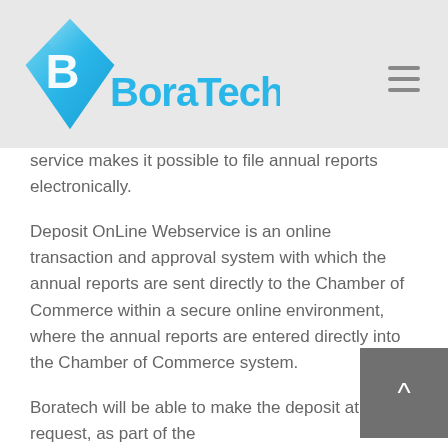[Figure (logo): BoraTech logo: blue diamond shape with letter B and text 'BoraTech' in cyan/teal font]
service makes it possible to file annual reports electronically.
Deposit OnLine Webservice is an online transaction and approval system with which the annual reports are sent directly to the Chamber of Commerce within a secure online environment, where the annual reports are entered directly into the Chamber of Commerce system.
Boratech will be able to make the deposit at your request, as part of the